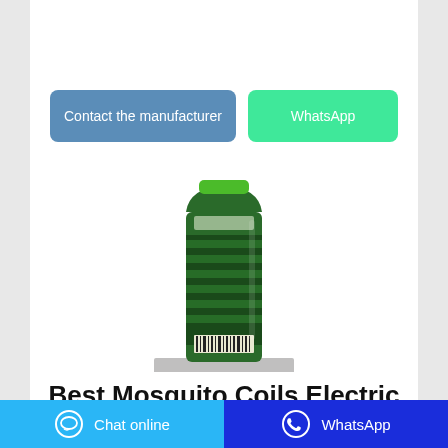[Figure (other): Button: Contact the manufacturer (blue rounded rectangle)]
[Figure (other): Button: WhatsApp (green rounded rectangle)]
[Figure (photo): A green aerosol spray can with green cap, standing on a grey platform/pedestal, product image for mosquito coil spray]
Best Mosquito Coils Electric 2021
[Figure (other): Footer bar with Chat online button (light blue) and WhatsApp button (dark blue), each with icon]